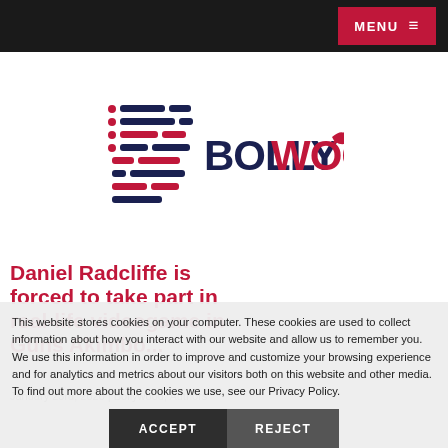MENU ☰
[Figure (logo): Bollywood.com logo with stylized bars icon in navy/red and BOLLYWOOD text in navy and red with a leaf/arrow icon]
Daniel Radcliffe is forced to take part in real-life videogame in Guns Akimbo...
January 23rd, 2020 | Bollywood, Authors
This website stores cookies on your computer. These cookies are used to collect information about how you interact with our website and allow us to remember you. We use this information in order to improve and customize your browsing experience and for analytics and metrics about our visitors both on this website and other media. To find out more about the cookies we use, see our Privacy Policy.
ACCEPT  REJECT